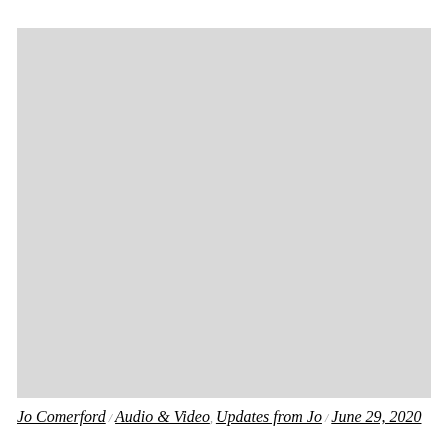[Figure (photo): Large light gray placeholder image block]
Jo Comerford /  Audio & Video, Updates from Jo /  June 29, 2020